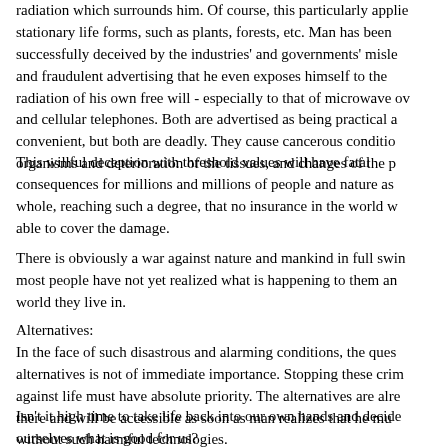radiation which surrounds him. Of course, this particularly applies to stationary life forms, such as plants, forests, etc. Man has been successfully deceived by the industries' and governments' misleading and fraudulent advertising that he even exposes himself to the radiation of his own free will - especially to that of microwave ovens and cellular telephones. Both are advertised as being practical and convenient, but both are deadly. They cause cancerous conditions of organisms and deterioration of the tissues, and changes of the p
This willful deception with threshold values will have fatal consequences for millions and millions of people and nature as a whole, reaching such a degree, that no insurance in the world will be able to cover the damage.
There is obviously a war against nature and mankind in full swing, and most people have not yet realized what is happening to them and the world they live in.
Alternatives:
In the face of such disastrous and alarming conditions, the question of alternatives is not of immediate importance. Stopping these crimes against life must have absolute priority. The alternatives are already there and will be accessible as soon as man realizes that he must live without such harmful technologies.
Isn't it high time to take life back into our own hands and decide for ourselves what is good for us?
Mankind, stand up for life at long last and protect it; it is all you have. You are about to lose it.